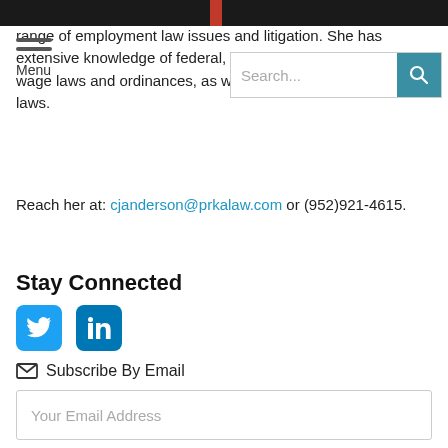Cone represents, counsels, and defends employers in a full range of employment law issues and litigation. She has extensive knowledge of federal, state and local prevailing wage laws and ordinances, as well as other wage and hour laws.
Reach her at: cjanderson@prkalaw.com or (952)921-4615.
Stay Connected
[Figure (other): Twitter and LinkedIn social media icons (blue rounded square buttons)]
Subscribe By Email
Your Email Address
SUBMIT
Topics